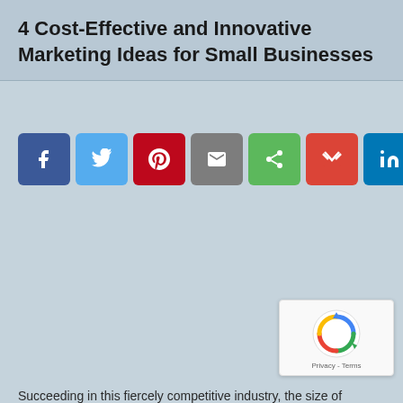4 Cost-Effective and Innovative Marketing Ideas for Small Businesses
[Figure (infographic): Row of 10 social media share buttons: Facebook (blue), Twitter (light blue), Pinterest (red), Email/envelope (gray), Share (green), Gmail (red), LinkedIn (teal), Messenger (blue), SMS/chat (yellow), Tumblr (dark blue)]
[Figure (infographic): Google reCAPTCHA badge with spinning arrows logo and Privacy - Terms text]
Succeeding in this fiercely competitive industry, the size of